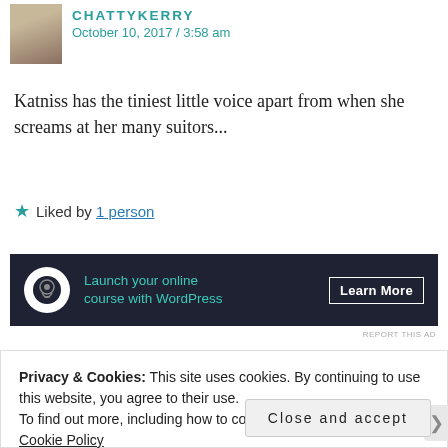CHATTYKERRY
October 10, 2017 / 3:58 am
Katniss has the tiniest little voice apart from when she screams at her many suitors...
★ Liked by 1 person
[Figure (infographic): Dark banner advertisement: circular logo icon on left, teal text 'Launch your online course with WordPress', white 'Learn More' button on right]
REPORT THIS AD
Privacy & Cookies: This site uses cookies. By continuing to use this website, you agree to their use.
To find out more, including how to control cookies, see here: Cookie Policy
Close and accept